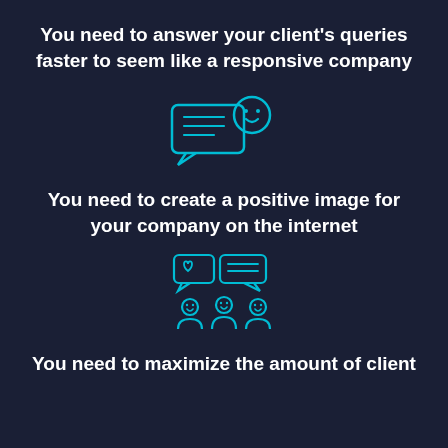You need to answer your client's queries faster to seem like a responsive company
[Figure (illustration): Cyan/teal outline icon of two speech bubbles with a smiley face emoji, representing chat/customer service]
You need to create a positive image for your company on the internet
[Figure (illustration): Cyan/teal outline icon of two speech bubbles with heart and text above three person silhouettes with happy faces, representing social media or community engagement]
You need to maximize the amount of client